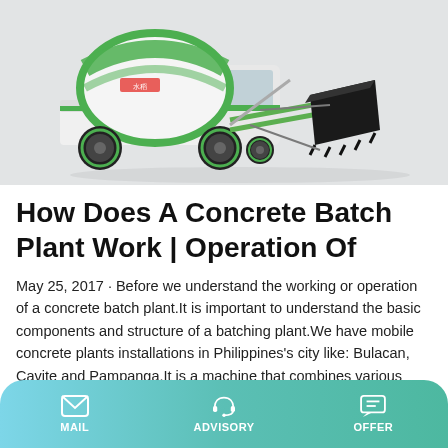[Figure (photo): A self-loading concrete mixer truck with green and white colors, featuring a large rotating drum on top and a front-mounted loading bucket/scoop, photographed against a light grey background.]
How Does A Concrete Batch Plant Work | Operation Of
May 25, 2017 · Before we understand the working or operation of a concrete batch plant.It is important to understand the basic components and structure of a batching plant.We have mobile concrete plants installations in Philippines's city like: Bulacan, Cavite and Pampanga.It is a machine that combines various ingredients like aggregates, sand, water, cement and additives.These components are first
MAIL   ADVISORY   OFFER